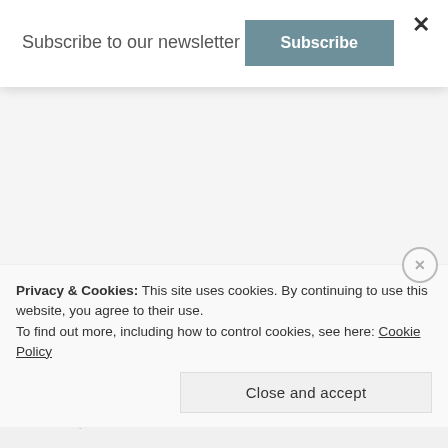Subscribe to our newsletter
Subscribe
Like
Reply
Raechel says:
March 19, 2019 at 11:55 am
Privacy & Cookies: This site uses cookies. By continuing to use this website, you agree to their use.
To find out more, including how to control cookies, see here: Cookie Policy
Close and accept